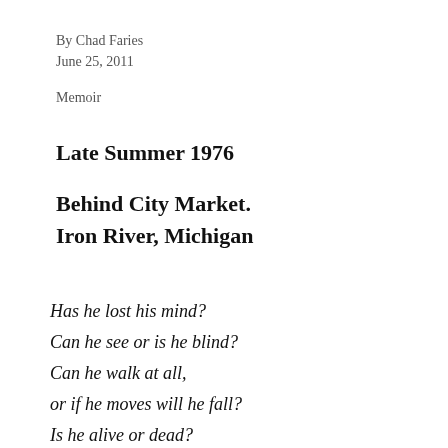By Chad Faries
June 25, 2011
Memoir
Late Summer 1976
Behind City Market.
Iron River, Michigan
Has he lost his mind?
Can he see or is he blind?
Can he walk at all,
or if he moves will he fall?
Is he alive or dead?